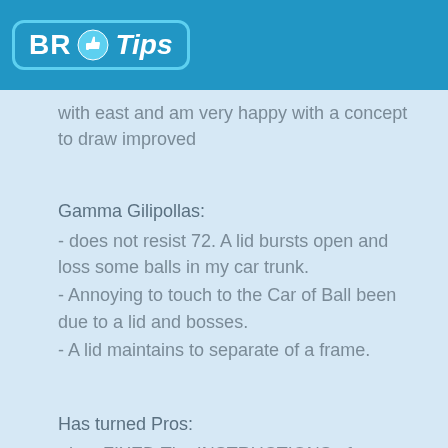[Figure (logo): BR Tips logo with thumbs up icon on blue header bar]
with east and am very happy with a concept to draw improved
Gamma Gilipollas:
- does not resist 72. A lid bursts open and loss some balls in my car trunk.
- Annoying to touch to the Car of Ball been due to a lid and bosses.
- A lid maintains to separate of a frame.
Has turned Pros:
- has FIXED The INSTRUCTIONS of ASSEMBLY IMPRESA!! Any sophisticated but effective. The assembly was fast & easy.